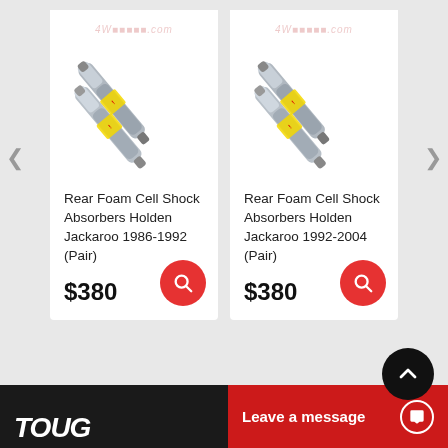[Figure (photo): Product photo of Rear Foam Cell Shock Absorbers - two silver shock absorbers side by side with yellow warning label, for Holden Jackaroo 1986-1992]
Rear Foam Cell Shock Absorbers Holden Jackaroo 1986-1992 (Pair)
$380
[Figure (photo): Product photo of Rear Foam Cell Shock Absorbers - two silver shock absorbers side by side with yellow warning label, for Holden Jackaroo 1992-2004]
Rear Foam Cell Shock Absorbers Holden Jackaroo 1992-2004 (Pair)
$380
[Figure (logo): TOUGH logo in white on dark background]
Leave a message